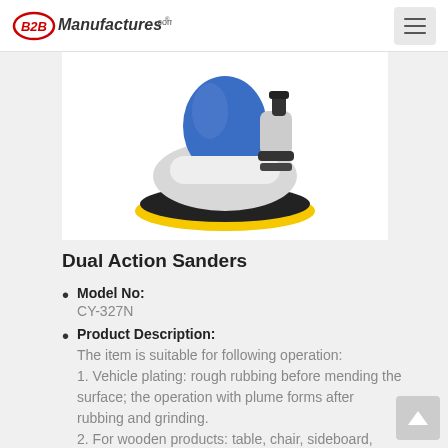B2BManufactures.com
[Figure (photo): Dual action sander tool with blue, white, black, and yellow components — a pneumatic orbital sander viewed from the side/above, showing yellow sanding pad at bottom.]
Dual Action Sanders
Model No: CY-327N
Product Description: The item is suitable for following operation: 1. Vehicle plating: rough rubbing before mending the surface; the operation with plume forms after rubbing and grinding. 2. For wooden products: table, chair, sideboard, bed, chest of drawers, etc.